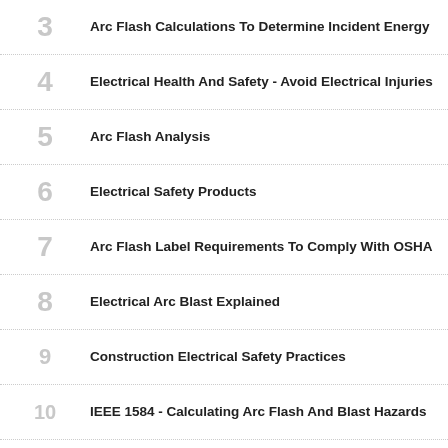3 Arc Flash Calculations To Determine Incident Energy
4 Electrical Health And Safety - Avoid Electrical Injuries
5 Arc Flash Analysis
6 Electrical Safety Products
7 Arc Flash Label Requirements To Comply With OSHA
8 Electrical Arc Blast Explained
9 Construction Electrical Safety Practices
10 IEEE 1584 - Calculating Arc Flash And Blast Hazards
11 OSHA Arc Flash Requirements - Electrical Worker Protection
12 Single Phase Arc Flash...